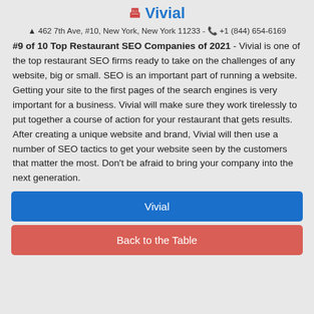Vivial
462 7th Ave, #10, New York, New York 11233 - +1 (844) 654-6169
#9 of 10 Top Restaurant SEO Companies of 2021 - Vivial is one of the top restaurant SEO firms ready to take on the challenges of any website, big or small. SEO is an important part of running a website. Getting your site to the first pages of the search engines is very important for a business. Vivial will make sure they work tirelessly to put together a course of action for your restaurant that gets results. After creating a unique website and brand, Vivial will then use a number of SEO tactics to get your website seen by the customers that matter the most. Don't be afraid to bring your company into the next generation.
Vivial
Back to the Table